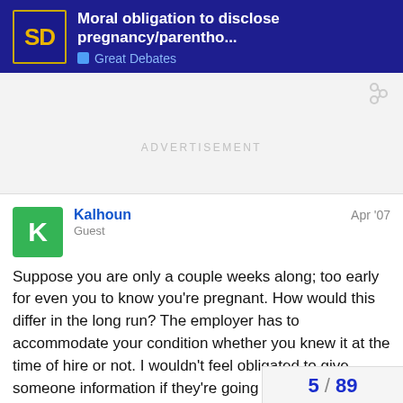Moral obligation to disclose pregnancy/parentho... | Great Debates
ADVERTISEMENT
Kalhoun
Guest
Apr '07
Suppose you are only a couple weeks along; too early for even you to know you're pregnant. How would this differ in the long run? The employer has to accommodate your condition whether you knew it at the time of hire or not. I wouldn't feel obligated to give someone information if they're going to have to do the same thing whether they know or not. It's an inherent risk in hiring women of child-bearing age.
5 / 89